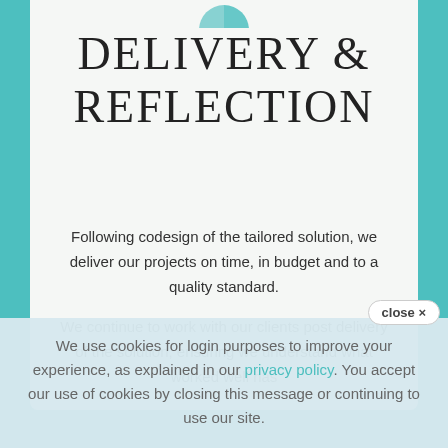[Figure (logo): Partial teal circular logo with orange dot, cropped at top of white card]
DELIVERY & REFLECTION
Following codesign of the tailored solution, we deliver our projects on time, in budget and to a quality standard.
We continue to work with our clients post delivery of the solution, ensuring we understand what worked well has...
close ×
We use cookies for login purposes to improve your experience, as explained in our privacy policy. You accept our use of cookies by closing this message or continuing to use our site.